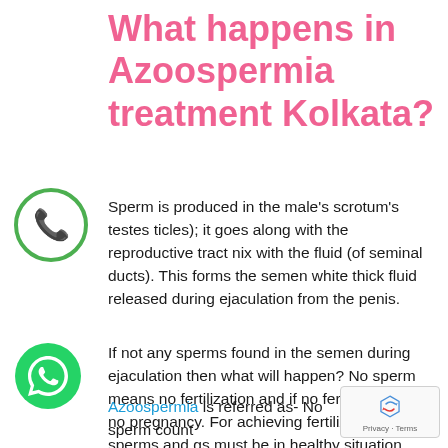What happens in Azoospermia treatment Kolkata?
Sperm is produced in the male’s scrotum’s testes ticles); it goes along with the reproductive tract nix with the fluid (of seminal ducts). This forms the semen white thick fluid released during ejaculation from the penis.
[Figure (illustration): WhatsApp outline icon (green circle with phone handset)]
If not any sperms found in the semen during ejaculation then what will happen? No sperm means no fertilization and if no fertilization then no pregnancy. For achieving fertilization, sperms and gs must be in healthy situation.
[Figure (illustration): WhatsApp filled green circle icon with white phone handset]
[Figure (illustration): reCAPTCHA widget showing recycling arrows logo with Privacy and Terms text]
Azoospermia is referred as- No sperm count